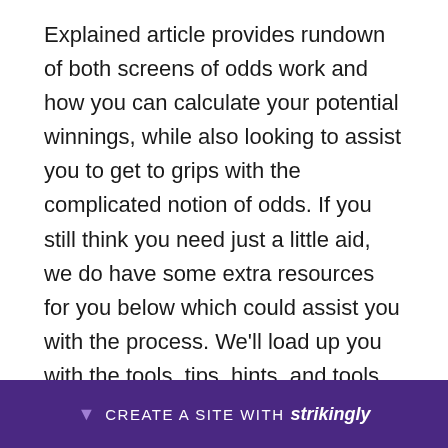Explained article provides rundown of both screens of odds work and how you can calculate your potential winnings, while also looking to assist you to get to grips with the complicated notion of odds. If you still think you need just a little aid, we do have some extra resources for you below which could assist you with the process. We'll load up you with the tools, tips, hints, and tools that you need as a way to become among the most useful football bettors on the planet. [link] may sometimes have a rest during its offseason, however there was definitely still plen... hey bein...
CREATE A SITE WITH strikingly